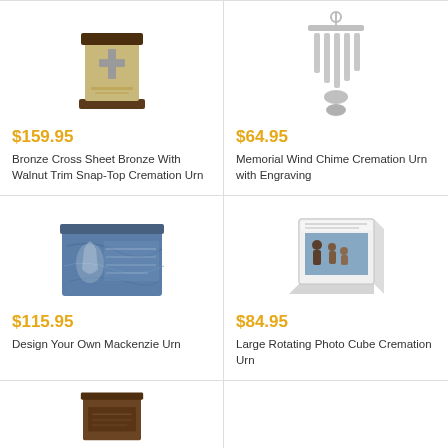[Figure (photo): Bronze cross sheet bronze urn with walnut trim and cross emblem on front]
$159.95
Bronze Cross Sheet Bronze With Walnut Trim Snap-Top Cremation Urn
[Figure (photo): Memorial wind chime hanging cremation urn with silver chimes]
$64.95
Memorial Wind Chime Cremation Urn with Engraving
[Figure (photo): Blue marble Mackenzie urn with praying hands design]
$115.95
Design Your Own Mackenzie Urn
[Figure (photo): Large rotating photo cube cremation urn with family photo]
$84.95
Large Rotating Photo Cube Cremation Urn
[Figure (photo): Dark wood cremation urn with engraved panel]